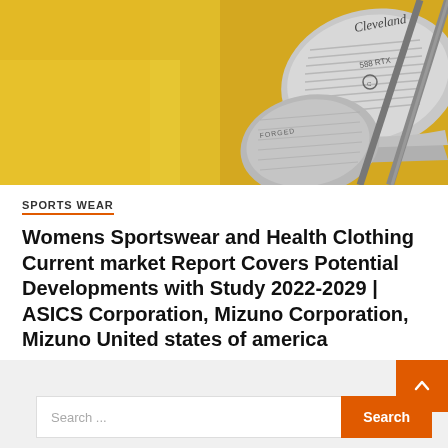[Figure (photo): Close-up photo of Cleveland golf club wedges (588 RTX model) against a warm yellow/golden background]
SPORTS WEAR
Womens Sportswear and Health Clothing Current market Report Covers Potential Developments with Study 2022-2029 | ASICS Corporation, Mizuno Corporation, Mizuno United states of america
August 6, 2022   Priscilla Polansky